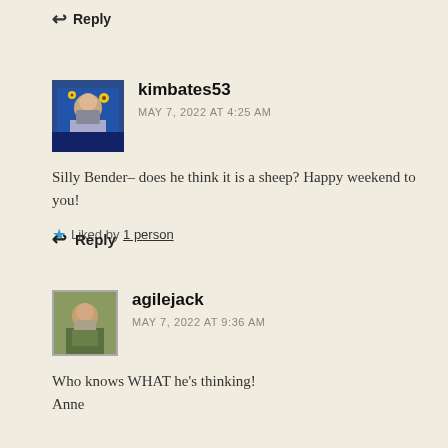↩ Reply
kimbates53
MAY 7, 2022 AT 4:25 AM
Silly Bender– does he think it is a sheep? Happy weekend to you!
★ Liked by 1 person
↩ Reply
agilejack
MAY 7, 2022 AT 9:36 AM
Who knows WHAT he's thinking!
Anne